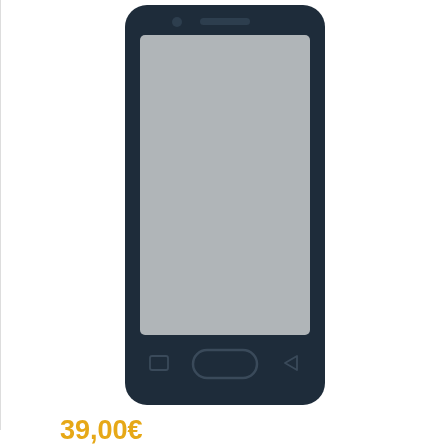[Figure (illustration): Samsung Galaxy S4 smartphone illustration showing the front of the phone with a dark navy/black body, gray screen, home button at bottom, and navigation buttons]
39,00€
Samsung
Riparazione Camera Frontale Samsung Galaxy S4 i9505/i9515
ACQUISTA
[Figure (illustration): Green circular phone call button with white phone handset icon]